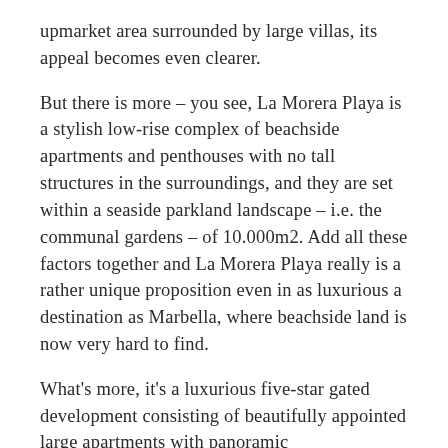upmarket area surrounded by large villas, its appeal becomes even clearer.
But there is more – you see, La Morera Playa is a stylish low-rise complex of beachside apartments and penthouses with no tall structures in the surroundings, and they are set within a seaside parkland landscape – i.e. the communal gardens – of 10.000m2. Add all these factors together and La Morera Playa really is a rather unique proposition even in as luxurious a destination as Marbella, where beachside land is now very hard to find.
What's more, it's a luxurious five-star gated development consisting of beautifully appointed large apartments with panoramic